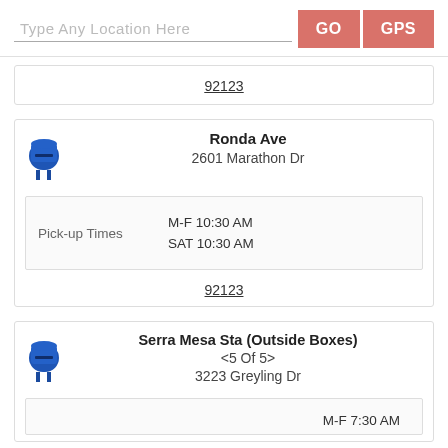Type Any Location Here | GO | GPS
92123
Ronda Ave
2601 Marathon Dr
Pick-up Times  M-F 10:30 AM  SAT 10:30 AM
92123
Serra Mesa Sta (Outside Boxes)
<5 Of 5>
3223 Greyling Dr
M-F 7:30 AM